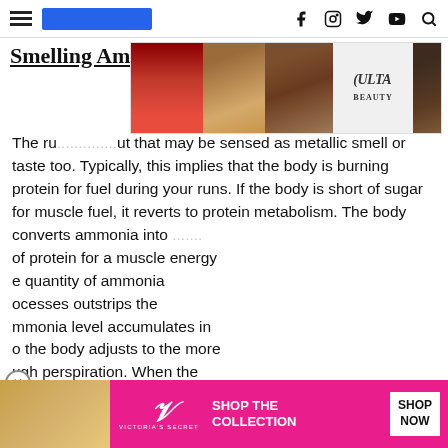Navigation header with hamburger menu, blue logo bar, and social icons (Facebook, Instagram, Twitter, YouTube, Search)
Smelling Ammonia After Workout
[Figure (photo): ULTA Beauty advertisement banner with makeup images (lips, brush, eye) and SHOP NOW button]
The ru... ut that may be sensed as metallic smell or taste too. Typically, this implies that the body is burning protein for fuel during your runs. If the body is short of sugar for muscle fuel, it reverts to protein metabolism. The body converts ammonia into ...through the breakdown of protein for a muscle energy ...e quantity of ammonia ...ocesses outstrips the ...mmonia level accumulates in ...o the body adjusts to the more ...ugh perspiration. When the sweat concentration of ammonia increases, you will likely notice the smell after conducts. The natural movement of air across the body probably keeps down the odor ...oure outsid... you put in t... nt.
[Figure (photo): Black overlay advertisement block covering left portion of page]
[Figure (photo): Victoria's Secret advertisement banner at bottom with pink background, SHOP THE COLLECTION and SHOP NOW]